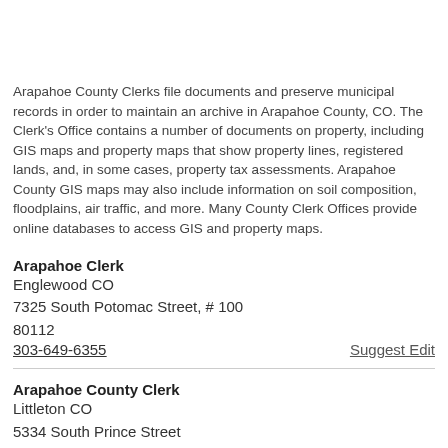Arapahoe County Clerks file documents and preserve municipal records in order to maintain an archive in Arapahoe County, CO. The Clerk’s Office contains a number of documents on property, including GIS maps and property maps that show property lines, registered lands, and, in some cases, property tax assessments. Arapahoe County GIS maps may also include information on soil composition, floodplains, air traffic, and more. Many County Clerk Offices provide online databases to access GIS and property maps.
Arapahoe Clerk
Englewood CO
7325 South Potomac Street, # 100
80112
303-649-6355
Suggest Edit
Arapahoe County Clerk
Littleton CO
5334 South Prince Street